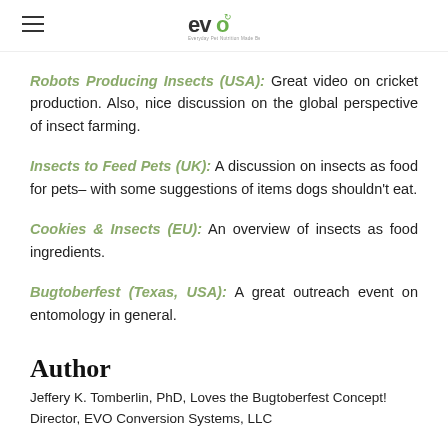evo
Robots Producing Insects (USA): Great video on cricket production. Also, nice discussion on the global perspective of insect farming.
Insects to Feed Pets (UK): A discussion on insects as food for pets– with some suggestions of items dogs shouldn't eat.
Cookies & Insects (EU): An overview of insects as food ingredients.
Bugtoberfest (Texas, USA): A great outreach event on entomology in general.
Author
Jeffery K. Tomberlin, PhD, Loves the Bugtoberfest Concept! Director, EVO Conversion Systems, LLC